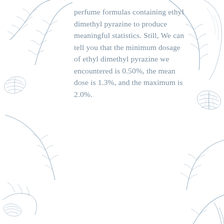[Figure (illustration): Decorative botanical blue toile border on the left and right sides of the page, featuring ferns, shells, and tropical leaves in a blue-on-white engraving style.]
perfume formulas containing ethyl dimethyl pyrazine to produce meaningful statistics. Still, We can tell you that the minimum dosage of ethyl dimethyl pyrazine we encountered is 0.50%, the mean dose is 1.3%, and the maximum is 2.0%.